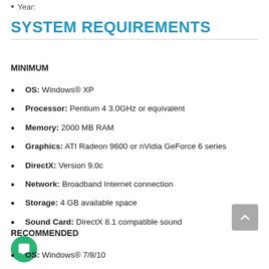Year:
SYSTEM REQUIREMENTS
MINIMUM
OS: Windows® XP
Processor: Pentium 4 3.0GHz or equivalent
Memory: 2000 MB RAM
Graphics: ATI Radeon 9600 or nVidia GeForce 6 series
DirectX: Version 9.0c
Network: Broadband Internet connection
Storage: 4 GB available space
Sound Card: DirectX 8.1 compatible sound
RECOMMENDED
OS: Windows® 7/8/10